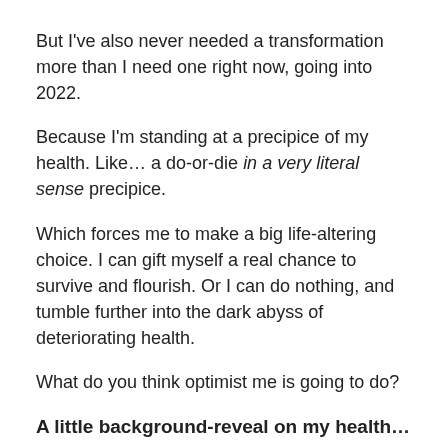But I've also never needed a transformation more than I need one right now, going into 2022.
Because I'm standing at a precipice of my health. Like… a do-or-die in a very literal sense precipice.
Which forces me to make a big life-altering choice. I can gift myself a real chance to survive and flourish. Or I can do nothing, and tumble further into the dark abyss of deteriorating health.
What do you think optimist me is going to do?
A little background-reveal on my health…
What I've never shared publicly before—what my optimistic nature railed at even voicing—is that I suffer from chronic illness. Looking back, I've